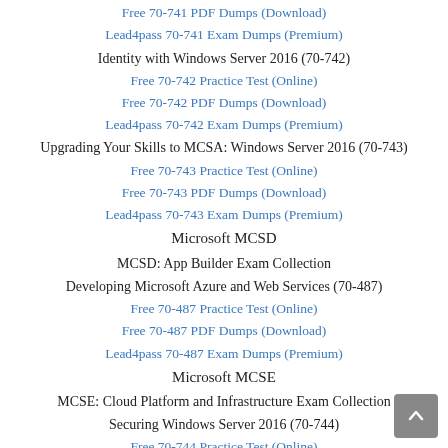Free 70-741 PDF Dumps (Download)
Lead4pass 70-741 Exam Dumps (Premium)
Identity with Windows Server 2016 (70-742)
Free 70-742 Practice Test (Online)
Free 70-742 PDF Dumps (Download)
Lead4pass 70-742 Exam Dumps (Premium)
Upgrading Your Skills to MCSA: Windows Server 2016 (70-743)
Free 70-743 Practice Test (Online)
Free 70-743 PDF Dumps (Download)
Lead4pass 70-743 Exam Dumps (Premium)
Microsoft MCSD
MCSD: App Builder Exam Collection
Developing Microsoft Azure and Web Services (70-487)
Free 70-487 Practice Test (Online)
Free 70-487 PDF Dumps (Download)
Lead4pass 70-487 Exam Dumps (Premium)
Microsoft MCSE
MCSE: Cloud Platform and Infrastructure Exam Collection
Securing Windows Server 2016 (70-744)
Free 70-744 Practice Test (Online)
Free 70-744 PDF Dumps (Download)
Lead4pass 70-744 Exam Dumps (Premium)